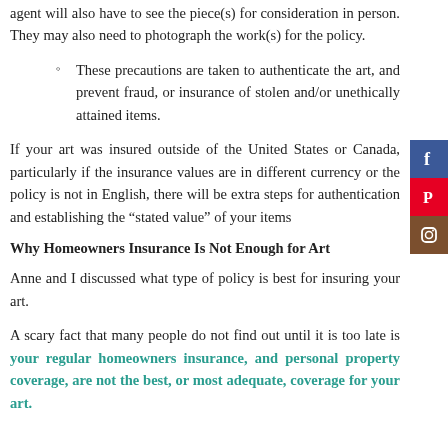agent will also have to see the piece(s) for consideration in person. They may also need to photograph the work(s) for the policy.
These precautions are taken to authenticate the art, and prevent fraud, or insurance of stolen and/or unethically attained items.
If your art was insured outside of the United States or Canada, particularly if the insurance values are in different currency or the policy is not in English, there will be extra steps for authentication and establishing the “stated value” of your items
Why Homeowners Insurance Is Not Enough for Art
Anne and I discussed what type of policy is best for insuring your art.
A scary fact that many people do not find out until it is too late is your regular homeowners insurance, and personal property coverage, are not the best, or most adequate, coverage for your art.